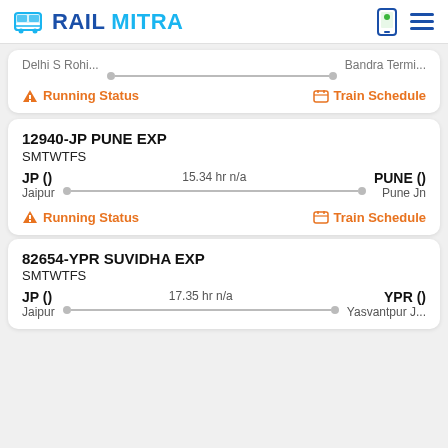RAILMITRA
Delhi S Rohi... → Bandra Termi...
Running Status | Train Schedule
12940-JP PUNE EXP
SMTWTFS
JP () Jaipur | 15.34 hr n/a | PUNE () Pune Jn
Running Status | Train Schedule
82654-YPR SUVIDHA EXP
SMTWTFS
JP () Jaipur | 17.35 hr n/a | YPR () Yasvantpur J...